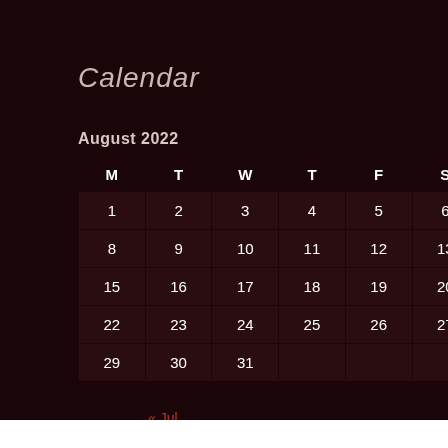Calendar
August 2022
| M | T | W | T | F | S | S |
| --- | --- | --- | --- | --- | --- | --- |
| 1 | 2 | 3 | 4 | 5 | 6 | 7 |
| 8 | 9 | 10 | 11 | 12 | 13 | 14 |
| 15 | 16 | 17 | 18 | 19 | 20 | 21 |
| 22 | 23 | 24 | 25 | 26 | 27 | 28 |
| 29 | 30 | 31 |  |  |  |  |
« Jul